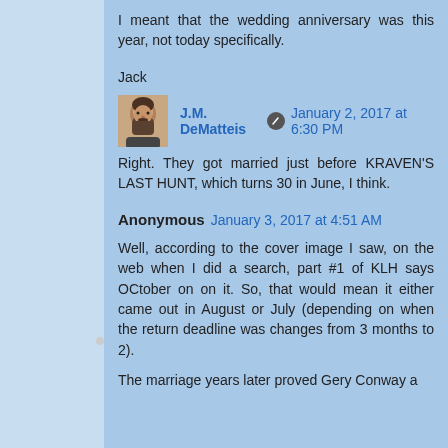I meant that the wedding anniversary was this year, not today specifically.
Jack
J.M. DeMatteis  January 2, 2017 at 6:30 PM
Right. They got married just before KRAVEN'S LAST HUNT, which turns 30 in June, I think.
Anonymous  January 3, 2017 at 4:51 AM
Well, according to the cover image I saw, on the web when I did a search, part #1 of KLH says OCtober on on it. So, that would mean it either came out in August or July (depending on when the return deadline was changes from 3 months to 2).
The marriage years later proved Gery Conway a